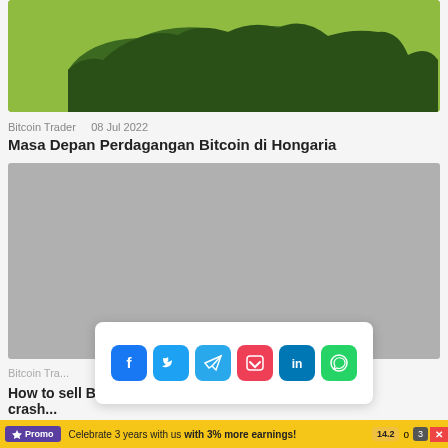[Figure (map): Green map background with dark green silhouette shape (Hungary map), cropped at top]
Bitcoin Trader    08 Jul 2022
Masa Depan Perdagangan Bitcoin di Hongaria
[Figure (photo): Gray placeholder image for article content]
[Figure (infographic): Social share bar with Facebook, Twitter, Telegram, Pocket, LinkedIn, WhatsApp icons]
Bitcoin Tra...
How to sell Bitcoin in Dubai before a Market crash...
Promo  Celebrate 3 years with us with 3% more earnings!  14.2  o  3  x